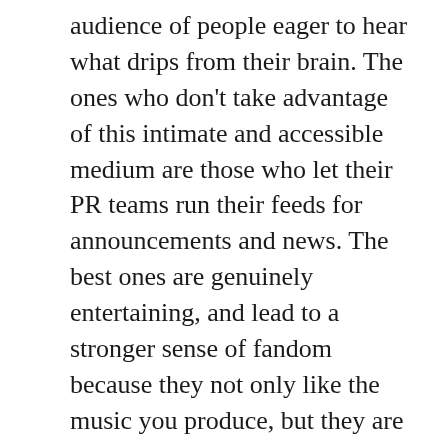audience of people eager to hear what drips from their brain. The ones who don't take advantage of this intimate and accessible medium are those who let their PR teams run their feeds for announcements and news. The best ones are genuinely entertaining, and lead to a stronger sense of fandom because they not only like the music you produce, but they are intrigued by you as a personality. With so many accounts, real and fake to slog through, these are my broad recommendations for Twitter (other than @vitaminrecords). A non-specific #FollowFriday, if you will.
@Questlove - From the world famous The Roots, Twitter has been a venue for ?